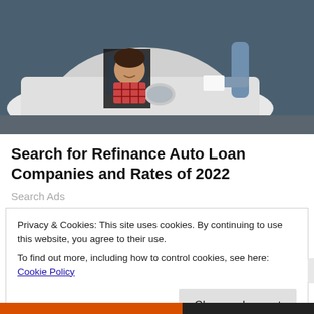[Figure (photo): Photo of a young man sitting in the driver seat of a white car, smiling, with another person standing outside handing him something, possibly car keys or paperwork. Car dealership context.]
Search for Refinance Auto Loan Companies and Rates of 2022
Search Ads
Privacy & Cookies: This site uses cookies. By continuing to use this website, you agree to their use.
To find out more, including how to control cookies, see here: Cookie Policy
Close and accept